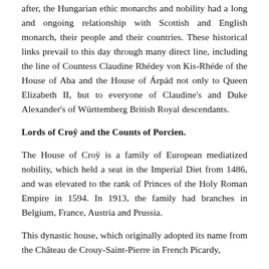after, the Hungarian ethic monarchs and nobility had a long and ongoing relationship with Scottish and English monarch, their people and their countries. These historical links prevail to this day through many direct line, including the line of Countess Claudine Rhédey von Kis-Rhéde of the House of Aba and the House of Árpád not only to Queen Elizabeth II, but to everyone of Claudine's and Duke Alexander's of Württemberg British Royal descendants.
Lords of Croÿ and the Counts of Porcien.
The House of Croÿ is a family of European mediatized nobility, which held a seat in the Imperial Diet from 1486, and was elevated to the rank of Princes of the Holy Roman Empire in 1594. In 1913, the family had branches in Belgium, France, Austria and Prussia.
This dynastic house, which originally adopted its name from the Château de Crouy-Saint-Pierre in French Picardy,